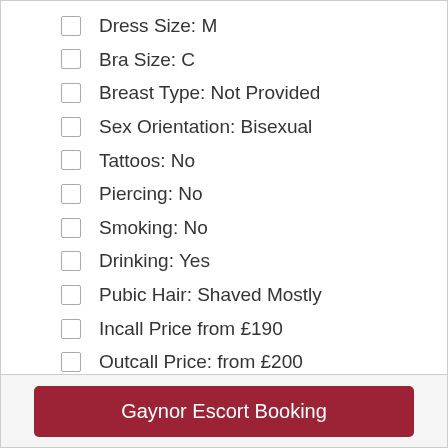Dress Size: M
Bra Size: C
Breast Type: Not Provided
Sex Orientation: Bisexual
Tattoos: No
Piercing: No
Smoking: No
Drinking: Yes
Pubic Hair: Shaved Mostly
Incall Price from £190
Outcall Price: from £200
Gaynor Escort Booking